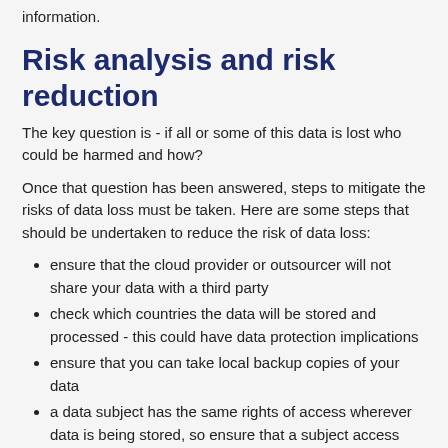information.
Risk analysis and risk reduction
The key question is - if all or some of this data is lost who could be harmed and how?
Once that question has been answered, steps to mitigate the risks of data loss must be taken. Here are some steps that should be undertaken to reduce the risk of data loss:
ensure that the cloud provider or outsourcer will not share your data with a third party
check which countries the data will be stored and processed - this could have data protection implications
ensure that you can take local backup copies of your data
a data subject has the same rights of access wherever data is being stored, so ensure that a subject access request can be facilitated
try to minimise the amount of personal data stored in the cloud, or with a third party